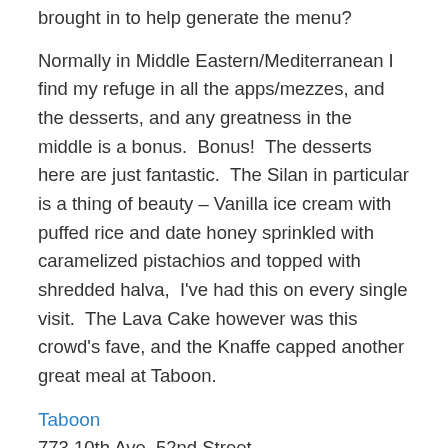brought in to help generate the menu?
Normally in Middle Eastern/Mediterranean I find my refuge in all the apps/mezzes, and the desserts, and any greatness in the middle is a bonus.  Bonus!  The desserts here are just fantastic.  The Silan in particular is a thing of beauty – Vanilla ice cream with puffed rice and date honey sprinkled with caramelized pistachios and topped with shredded halva,  I've had this on every single visit.  The Lava Cake however was this crowd's fave, and the Knaffe capped another great meal at Taboon.
Taboon
773 10th Ave, 52nd Street
$$$
Recommended Dishes:  Focaccia, Sambusak, Cauliflower, Terra Cotta Lamb, Falafel, Zucchini cakes, Chicken